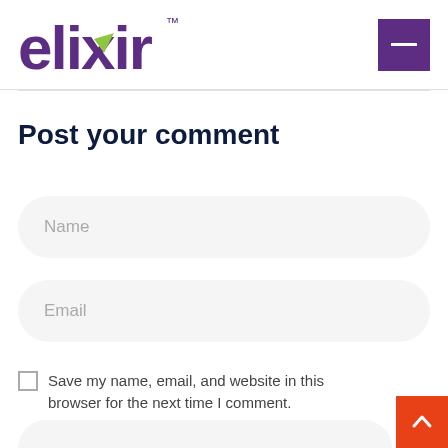elixir™ [logo with hamburger menu]
Post your comment
Name
Email
Save my name, email, and website in this browser for the next time I comment.